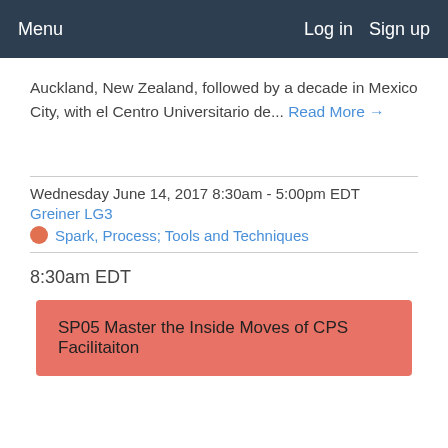Menu   Log in   Sign up
Auckland, New Zealand, followed by a decade in Mexico City, with el Centro Universitario de... Read More →
Wednesday June 14, 2017 8:30am - 5:00pm EDT
Greiner LG3
Spark, Process; Tools and Techniques
8:30am EDT
SP05 Master the Inside Moves of CPS Facilitaiton